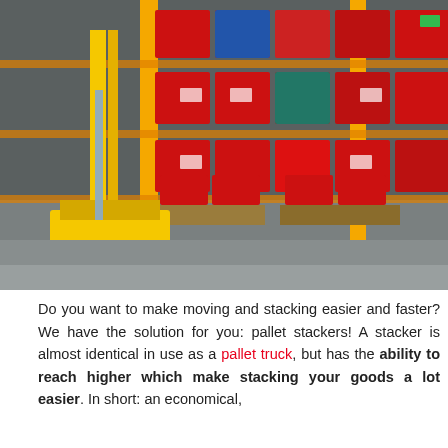[Figure (photo): Warehouse interior with yellow forklift/stacker equipment and red storage crates/bins stacked on tall shelving racks with orange uprights]
Do you want to make moving and stacking easier and faster? We have the solution for you: pallet stackers! A stacker is almost identical in use as a pallet truck, but has the ability to reach higher which make stacking your goods a lot easier. In short: an economical,
WE USE COOKIES ON THIS SITE TO ENHANCE YOUR USER EXPERIENCE
By clicking any link on this page you are giving your consent for us to set cookies.
OK, I agree
No, thanks